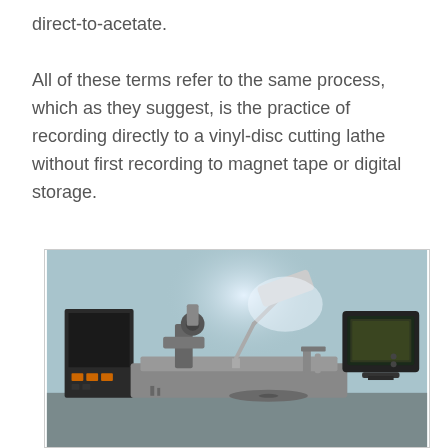direct-to-acetate.

All of these terms refer to the same process, which as they suggest, is the practice of recording directly to a vinyl-disc cutting lathe without first recording to magnet tape or digital storage.
[Figure (photo): A vinyl-disc cutting lathe machine photographed in a studio. The machine features a mechanical arm assembly with a cutting head, a bright articulated desk lamp illuminating the workspace, a retro CRT monitor on the right side, and a control panel with buttons on the left. The background is a teal/blue textured wall.]